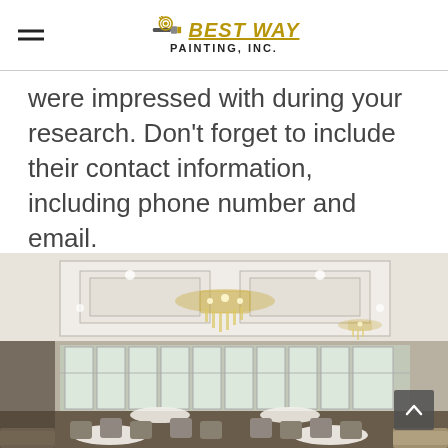BEST WAY PAINTING, INC.
were impressed with during your research. Don't forget to include their contact information, including phone number and email.
[Figure (photo): Interior photo of an elegant dining room or banquet hall with coffered ceiling, large chandeliers, tall windows, and upholstered chairs around white-clothed tables, with neutral grey/beige painted walls — work by Best Way Painting, Inc.]